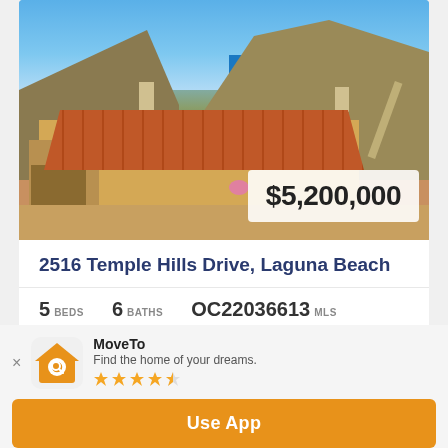[Figure (photo): Aerial view of a luxury home at 2516 Temple Hills Drive, Laguna Beach with terracotta tile roof, hillside backdrop, and Pacific Ocean visible in background. Price overlay shows $5,200,000.]
2516 Temple Hills Drive, Laguna Beach
5 BEDS  6 BATHS  OC22036613 MLS
Active STATUS
MoveTo
Find the home of your dreams.
Use App